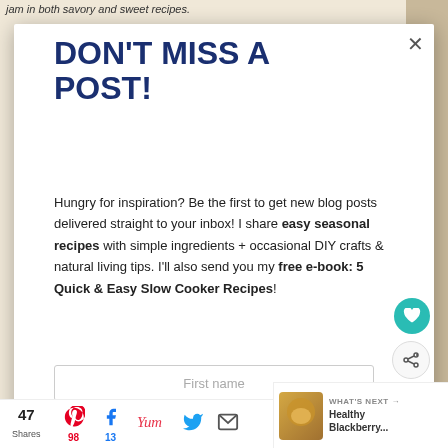jam in both savory and sweet recipes.
DON'T MISS A POST!
Hungry for inspiration? Be the first to get new blog posts delivered straight to your inbox! I share easy seasonal recipes with simple ingredients + occasional DIY crafts & natural living tips. I'll also send you my free e-book: 5 Quick & Easy Slow Cooker Recipes!
First name
47 Shares
98
13
WHAT'S NEXT → Healthy Blackberry...